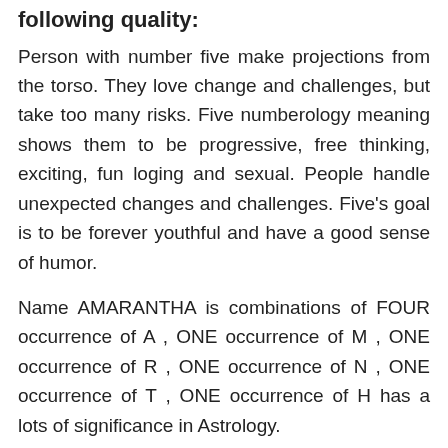following quality:
Person with number five make projections from the torso. They love change and challenges, but take too many risks. Five numberology meaning shows them to be progressive, free thinking, exciting, fun loging and sexual. People handle unexpected changes and challenges. Five's goal is to be forever youthful and have a good sense of humor.
Name AMARANTHA is combinations of FOUR occurrence of A , ONE occurrence of M , ONE occurrence of R , ONE occurrence of N , ONE occurrence of T , ONE occurrence of H has a lots of significance in Astrology.